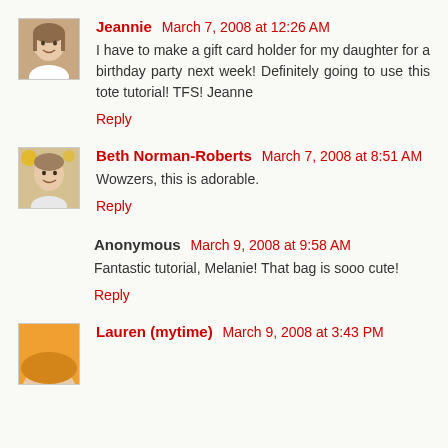[Figure (photo): Avatar photo of Jeannie, a woman]
Jeannie March 7, 2008 at 12:26 AM
I have to make a gift card holder for my daughter for a birthday party next week! Definitely going to use this tote tutorial! TFS! Jeanne
Reply
[Figure (photo): Avatar photo of Beth Norman-Roberts, a woman]
Beth Norman-Roberts March 7, 2008 at 8:51 AM
Wowzers, this is adorable.
Reply
Anonymous March 9, 2008 at 9:58 AM
Fantastic tutorial, Melanie! That bag is sooo cute!
Reply
[Figure (photo): Partial avatar photo of Lauren (myrtimei), partially visible at bottom]
Lauren (mytime) March 9, 2008 at 3:43 PM